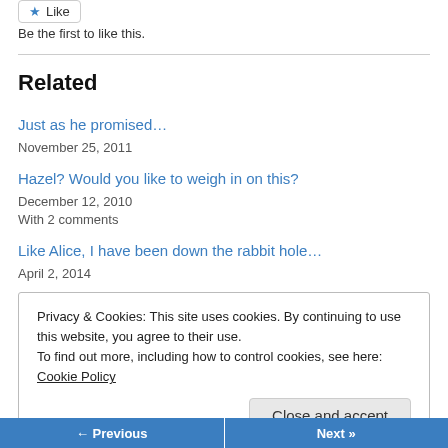[Figure (other): Like button with star icon]
Be the first to like this.
Related
Just as he promised…
November 25, 2011
Hazel? Would you like to weigh in on this?
December 12, 2010
With 2 comments
Like Alice, I have been down the rabbit hole…
April 2, 2014
Privacy & Cookies: This site uses cookies. By continuing to use this website, you agree to their use.
To find out more, including how to control cookies, see here: Cookie Policy
Close and accept
← Previous
Next »